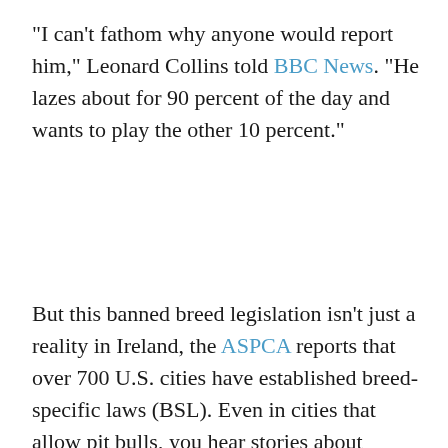"I can't fathom why anyone would report him," Leonard Collins told BBC News. "He lazes about for 90 percent of the day and wants to play the other 10 percent."
But this banned breed legislation isn't just a reality in Ireland, the ASPCA reports that over 700 U.S. cities have established breed-specific laws (BSL). Even in cities that allow pit bulls, you hear stories about families not being